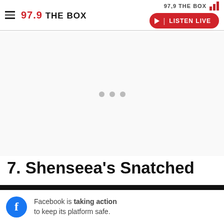97,9 THE BOX — LISTEN LIVE
[Figure (screenshot): Advertisement placeholder area with three gray dots indicating loading]
7. Shenseea's Snatched
[Figure (photo): Partial thumbnail image of a person, partially visible at bottom of page]
Facebook is taking action to keep its platform safe.